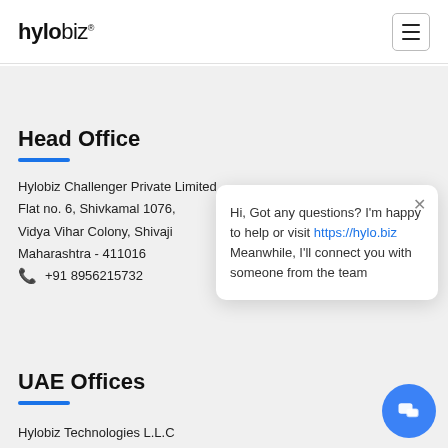hylobiz® [hamburger menu icon]
Head Office
Hylobiz Challenger Private Limited
Flat no. 6, Shivkamal 1076,
Vidya Vihar Colony, Shivaji
Maharashtra - 411016
📞 +91 8956215732
Hi, Got any questions? I'm happy to help or visit https://hylo.biz Meanwhile, I'll connect you with someone from the team
UAE Offices
Hylobiz Technologies L.L.C